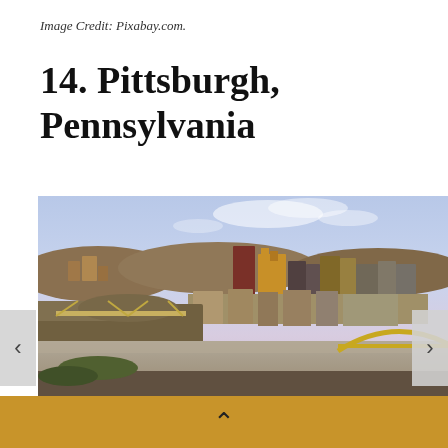Image Credit: Pixabay.com.
14. Pittsburgh, Pennsylvania
[Figure (photo): Aerial panoramic view of Pittsburgh, Pennsylvania skyline showing downtown skyscrapers, rivers, bridges including a yellow arch bridge, and surrounding hills with autumn foliage under a partly cloudy sky.]
▲